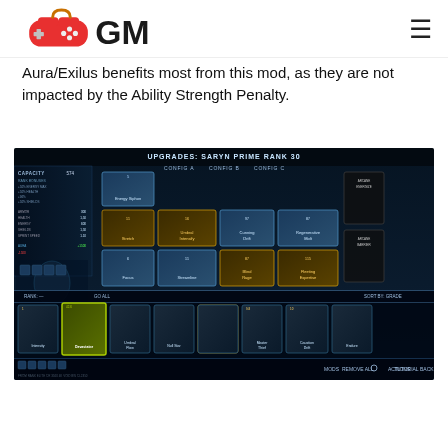GM logo and navigation menu
Aura/Exilus benefits most from this mod, as they are not impacted by the Ability Strength Penalty.
[Figure (screenshot): Warframe game UI screenshot showing Upgrades screen for Saryn Prime Rank 30, displaying equipped mods including Stretch, Umbral Intensify, Cunning Drift, Regenerative Molt, Focus, Streamline, Blind Rage, Fleeting Expertise, and Arcane panels, with mod inventory at the bottom showing Intensity, Devastator MK3, Umbral Flow, Null Star, Overdrive, Quick Thinking, Contagion Cloud, and other mods]